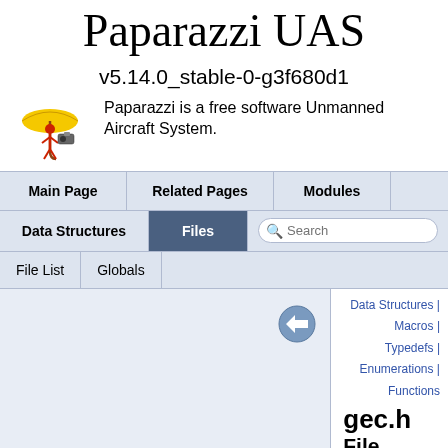Paparazzi UAS
v5.14.0_stable-0-g3f680d1
Paparazzi is a free software Unmanned Aircraft System.
Main Page | Related Pages | Modules
Data Structures | Files | Search
File List | Globals
gec.h File Reference
Data Structures | Macros | Typedefs | Enumerations | Functions
Galois embedded crypto
sw airborne modules datalink gec gec.h